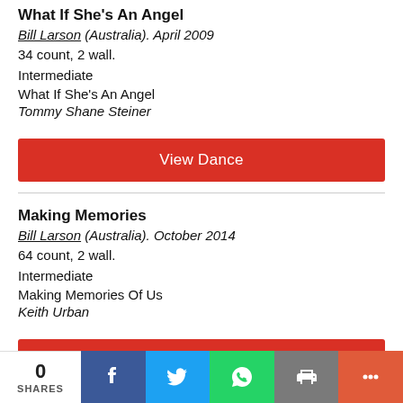What If She's An Angel
Bill Larson (Australia). April 2009
34 count, 2 wall.
Intermediate
What If She's An Angel
Tommy Shane Steiner
View Dance
Making Memories
Bill Larson (Australia). October 2014
64 count, 2 wall.
Intermediate
Making Memories Of Us
Keith Urban
View Dance
Impossible
0 SHARES | Facebook | Twitter | WhatsApp | Print | More